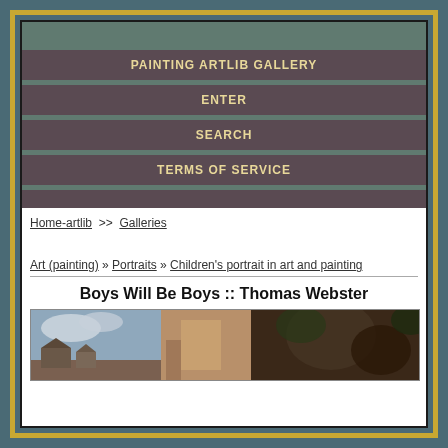PAINTING ARTLIB GALLERY
ENTER
SEARCH
TERMS OF SERVICE
Home-artlib >> Galleries
Art (painting) » Portraits » Children's portrait in art and painting
Boys Will Be Boys :: Thomas Webster
[Figure (photo): A painting showing boys scene by Thomas Webster, depicting buildings and figures in a dark tonal palette]